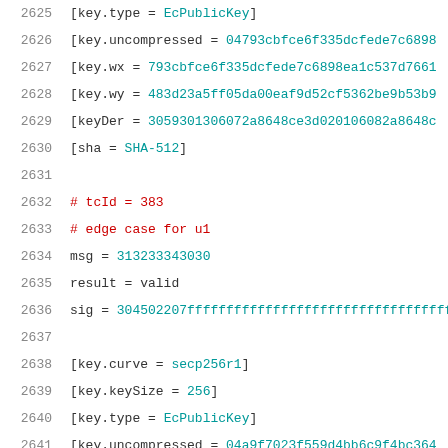2625  [key.type = EcPublicKey]
2626  [key.uncompressed = 04793cbfce6f335dcfede7c6898...
2627  [key.wx = 793cbfce6f335dcfede7c6898ea1c537d7661...
2628  [key.wy = 483d23a5ff05da00eaf9d52cf5362be9b53b9...
2629  [keyDer = 3059301306072a8648ce3d020106082a8648c...
2630  [sha = SHA-512]
2631
2632  # tcId = 383
2633  # edge case for u1
2634  msg = 313233343030
2635  result = valid
2636  sig = 304502207fffffffffffffffffffffffffffffffffffff...
2637
2638  [key.curve = secp256r1]
2639  [key.keySize = 256]
2640  [key.type = EcPublicKey]
2641  [key.uncompressed = 04a9f7023f559d4bb6c9f4bc364...
2642  [key.wx = 00a9f7023f559d4bb6c9f4bc3643e2824aff5...
2643  [key.wy = 6a7c77e8dd21f4ad49b103e67da9d3cda62b6...
2644  [keyDer = 3059301306072a8648ce3d020106082a8648c...
2645  [sha = SHA-512]
2646